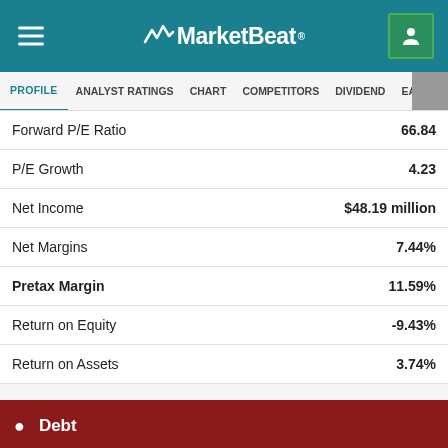MarketBeat
PROFILE | ANALYST RATINGS | CHART | COMPETITORS | DIVIDEND | EARNINGS
| Metric | Value |
| --- | --- |
| Forward P/E Ratio | 66.84 |
| P/E Growth | 4.23 |
| Net Income | $48.19 million |
| Net Margins | 7.44% |
| Pretax Margin | 11.59% |
| Return on Equity | -9.43% |
| Return on Assets | 3.74% |
Debt
| Metric | Value |
| --- | --- |
| Debt-to-Equity Ratio | N/A |
| Current Ratio | 4.52 |
| Quick Ratio | 4.52 |
Sales & Book Value